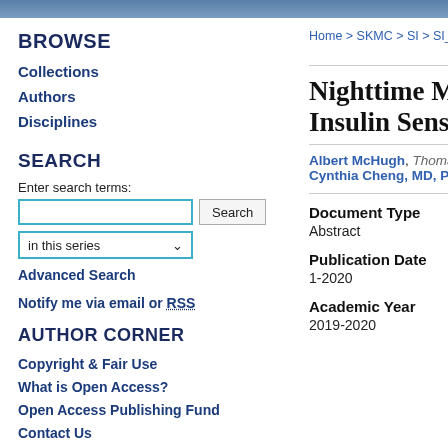[image banner at top]
BROWSE
Collections
Authors
Disciplines
SEARCH
Enter search terms:
in this series
Advanced Search
Notify me via email or RSS
AUTHOR CORNER
Copyright & Fair Use
What is Open Access?
Open Access Publishing Fund
Contact Us
Home > SKMC > SI > SI_CTR >
Nighttime Mela… Insulin Sensitivi…
Albert McHugh, Thomas Je…, Cynthia Cheng, MD, PhD, T…
Document Type
Abstract
Publication Date
1-2020
Academic Year
2019-2020